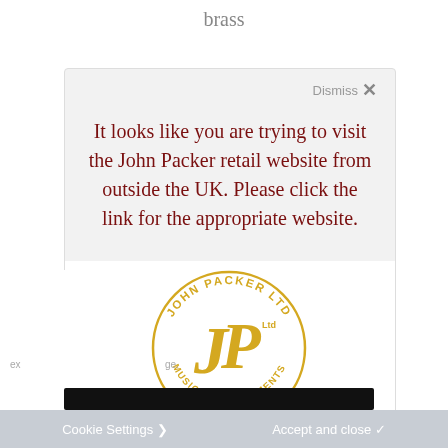brass
Dismiss ✕
It looks like you are trying to visit the John Packer retail website from outside the UK. Please click the link for the appropriate website.
[Figure (logo): John Packer Ltd Musical Instruments circular logo in gold/yellow color with JP monogram in the center]
Cookie Settings ❯   Accept and close ✓